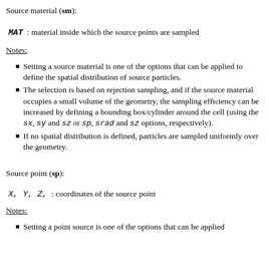Source material (sm):
MAT : material inside which the source points are sampled
Notes:
Setting a source material is one of the options that can be applied to define the spatial distribution of source particles.
The selection is based on rejection sampling, and if the source material occupies a small volume of the geometry, the sampling efficiency can be increased by defining a bounding box/cylinder around the cell (using the sx, sy and sz or sp, srad and sz options, respectively).
If no spatial distribution is defined, particles are sampled uniformly over the geometry.
Source point (sp):
X, Y, Z,  : coordinates of the source point
Notes:
Setting a point source is one of the options that can be applied